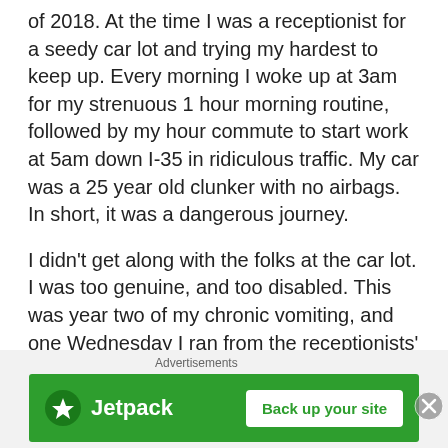of 2018. At the time I was a receptionist for a seedy car lot and trying my hardest to keep up. Every morning I woke up at 3am for my strenuous 1 hour morning routine, followed by my hour commute to start work at 5am down I-35 in ridiculous traffic. My car was a 25 year old clunker with no airbags. In short, it was a dangerous journey.
I didn't get along with the folks at the car lot. I was too genuine, and too disabled. This was year two of my chronic vomiting, and one Wednesday I ran from the receptionists' desk to puke for about five minutes. There was another receptionist at my post. When I returned, I received a harsh reprimand and was promptly fired. The whole incident was so jarring I haven't interviewed for a job since and have decided to make it on my own.
[Figure (other): Jetpack advertisement banner with green background showing Jetpack logo on the left and a 'Back up your site' button on the right, with a close (X) button overlay at the top right]